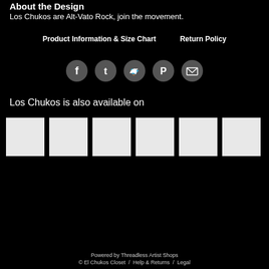About the Design
Los Chukos are Alt-Vato Rock, join the movement.
Product Information & Size Chart     Return Policy
[Figure (infographic): Five circular social media icon buttons (Facebook, Tumblr, Twitter, Pinterest, Email) in dark grey on black background]
Los Chukos is also available on
[Figure (infographic): Six white/light grey product thumbnail squares arranged in a row]
Powered by Threadless Artist Shops
© El Chukos Closet  /  Help & Returns  /  Legal